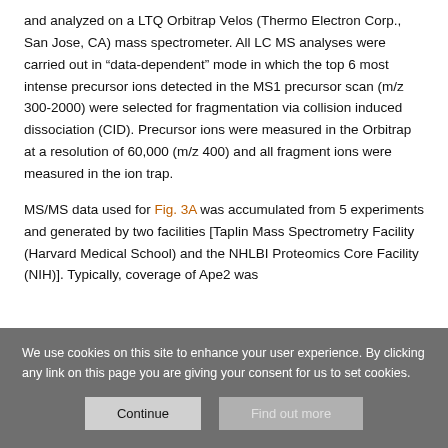and analyzed on a LTQ Orbitrap Velos (Thermo Electron Corp., San Jose, CA) mass spectrometer. All LC MS analyses were carried out in “data-dependent” mode in which the top 6 most intense precursor ions detected in the MS1 precursor scan (m/z 300-2000) were selected for fragmentation via collision induced dissociation (CID). Precursor ions were measured in the Orbitrap at a resolution of 60,000 (m/z 400) and all fragment ions were measured in the ion trap.
MS/MS data used for Fig. 3A was accumulated from 5 experiments and generated by two facilities [Taplin Mass Spectrometry Facility (Harvard Medical School) and the NHLBI Proteomics Core Facility (NIH)]. Typically, coverage of Ape2 was
We use cookies on this site to enhance your user experience. By clicking any link on this page you are giving your consent for us to set cookies.